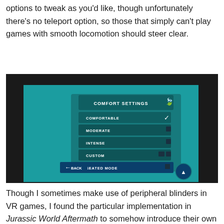options to tweak as you'd like, though unfortunately there's no teleport option, so those that simply can't play games with smooth locomotion should steer clear.
[Figure (screenshot): Screenshot of a VR game Comfort Settings menu on a teal background, showing options: COMFORTABLE (checked), MODERATE, INTENSE, CUSTOM, SEATED MODE, and a BACK button with arrow.]
Though I sometimes make use of peripheral blinders in VR games, I found the particular implementation in Jurassic World Aftermath to somehow introduce their own element